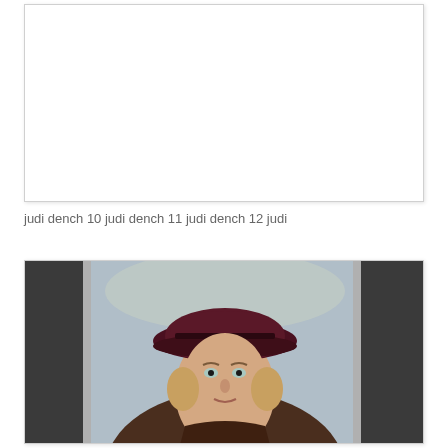[Figure (photo): White/blank image box with shadow border, top portion of page, representing a missing or unloaded photo (judi dench images 10-12).]
judi dench 10 judi dench 11 judi dench 12 judi
[Figure (photo): Photograph of a woman (Judi Dench) wearing a dark maroon/burgundy hat and coat, looking through a car window, with blurred background.]